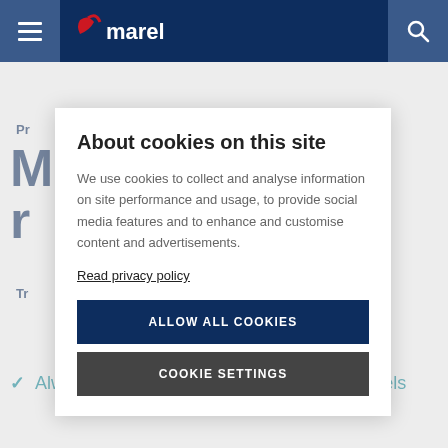Marel – navigation bar with hamburger menu and search
Pr
M
r
Tr
Always fresh flake ice on board fishing vessels
About cookies on this site
We use cookies to collect and analyse information on site performance and usage, to provide social media features and to enhance and customise content and advertisements.
Read privacy policy
ALLOW ALL COOKIES
COOKIE SETTINGS